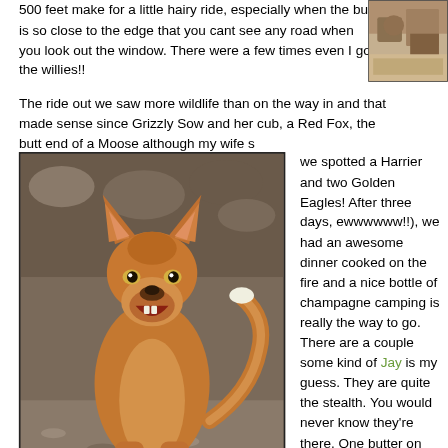500 feet make for a little hairy ride, especially when the bus is so close to the edge that you cant see any road when you look out the window. There were a few times even I got the willies!!
[Figure (photo): Partial photo visible in top-right corner, appears to show rocky terrain or wildlife]
The ride out we saw more wildlife than on the way in and that made sense since Grizzly Sow and her cub, a Red Fox, the butt end of a Moose although my wife s
[Figure (photo): Photo of a Red Fox walking toward the camera on rocky/gravelly ground, with mouth open showing teeth]
we spotted a Harrier and two Golden Eagles! After three days, ewwwwww!!), we had an awesome dinner cooked on the fire and a nice bottle of champagne camping is really the way to go. There are a couple some kind of Jay is my guess. They are quite the stealth. You would never know they're there. One butter on the bench and the next it's gone. I found indulging himself. I don't think he was too happy h At 9pm I scoped out the river behind the campground for a hike tomorrow, that looks promising as there is moose scat and sign everywhere in the willows that sporadically line the river bed. With any luck we'll get a glimpse of one or maybe two of the caribou that should be migrating through on their way to Mt. McKinley.